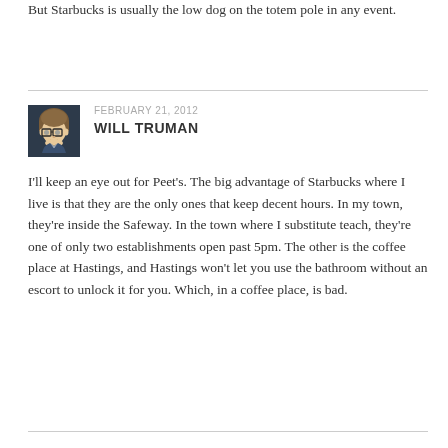But Starbucks is usually the low dog on the totem pole in any event.
FEBRUARY 21, 2012
WILL TRUMAN
[Figure (illustration): Avatar illustration of Will Truman, a cartoon-style drawing of a man with glasses and dark hair]
I'll keep an eye out for Peet's. The big advantage of Starbucks where I live is that they are the only ones that keep decent hours. In my town, they're inside the Safeway. In the town where I substitute teach, they're one of only two establishments open past 5pm. The other is the coffee place at Hastings, and Hastings won't let you use the bathroom without an escort to unlock it for you. Which, in a coffee place, is bad.